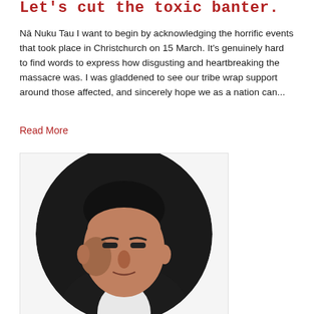Let's cut the toxic banter.
Nā Nuku Tau I want to begin by acknowledging the horrific events that took place in Christchurch on 15 March. It's genuinely hard to find words to express how disgusting and heartbreaking the massacre was. I was gladdened to see our tribe wrap support around those affected, and sincerely hope we as a nation can...
Read More
[Figure (photo): Circular portrait photo of a man in a dark suit with white shirt, looking serious, against a dark background.]